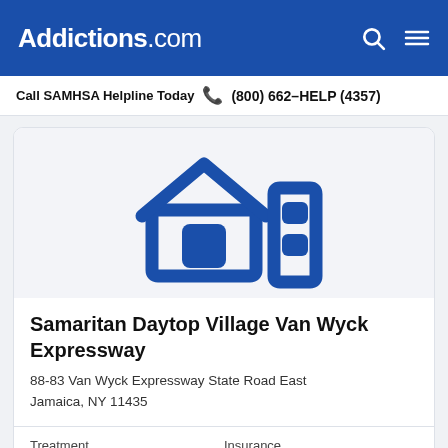Addictions.com
Call SAMHSA Helpline Today  (800) 662-HELP (4357)
[Figure (illustration): Dark blue icon of a house with a window square in the center, next to a building/apartment icon with grid squares, on a light gray background]
Samaritan Daytop Village Van Wyck Expressway
88-83 Van Wyck Expressway State Road East
Jamaica, NY 11435
Treatment
Inpatient
Insurance
N/A